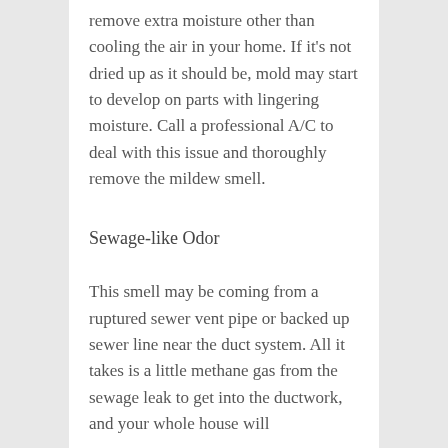remove extra moisture other than cooling the air in your home. If it's not dried up as it should be, mold may start to develop on parts with lingering moisture. Call a professional A/C to deal with this issue and thoroughly remove the mildew smell.
Sewage-like Odor
This smell may be coming from a ruptured sewer vent pipe or backed up sewer line near the duct system. All it takes is a little methane gas from the sewage leak to get into the ductwork, and your whole house will